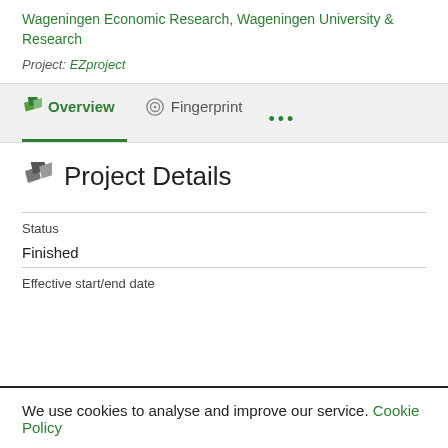Wageningen Economic Research, Wageningen University & Research
Project: EZproject
Overview
Fingerprint
Project Details
Status
Finished
Effective start/end date
We use cookies to analyse and improve our service. Cookie Policy